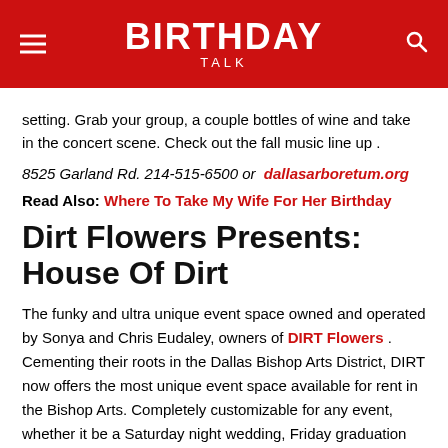BIRTHDAY TALK
setting. Grab your group, a couple bottles of wine and take in the concert scene. Check out the fall music line up .
8525 Garland Rd. 214-515-6500 or dallasarboretum.org
Read Also: Where To Take My Wife For Her Birthday
Dirt Flowers Presents: House Of Dirt
The funky and ultra unique event space owned and operated by Sonya and Chris Eudaley, owners of DIRT Flowers . Cementing their roots in the Dallas Bishop Arts District, DIRT now offers the most unique event space available for rent in the Bishop Arts. Completely customizable for any event, whether it be a Saturday night wedding, Friday graduation dinner, or a mid-week corporate luncheon or birthday party, House of DIRT is the